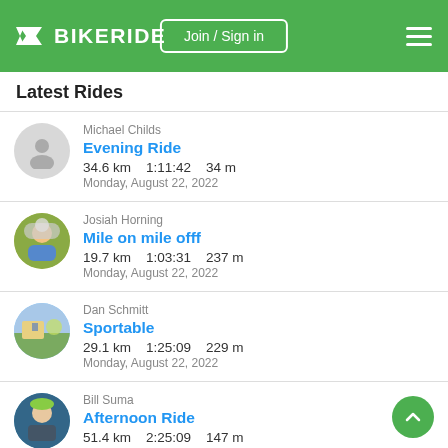BIKERIDE — Join / Sign in
Latest Rides
Michael Childs
Evening Ride
34.6 km   1:11:42   34 m
Monday, August 22, 2022
Josiah Horning
Mile on mile offf
19.7 km   1:03:31   237 m
Monday, August 22, 2022
Dan Schmitt
Sportable
29.1 km   1:25:09   229 m
Monday, August 22, 2022
Bill Suma
Afternoon Ride
51.4 km   2:25:09   147 m
Monday, August 22, 2022
Eric Griffioen